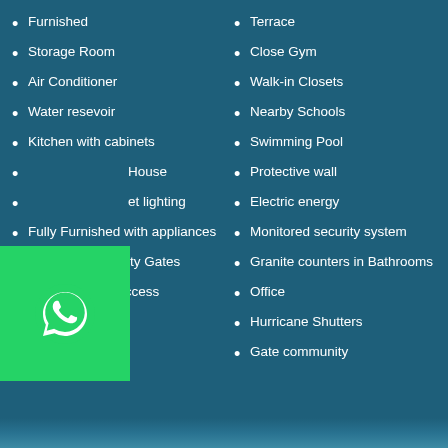Furnished
Storage Room
Air Conditioner
Water resevoir
Kitchen with cabinets
House
et lighting
Fully Furnished with appliances
Automatic Security Gates
24hrs secured access neighborhood
Private Parking
Jacuzzi
Terrace
Close Gym
Walk-in Closets
Nearby Schools
Swimming Pool
Protective wall
Electric energy
Monitored security system
Granite counters in Bathrooms
Office
Hurricane Shutters
Gate community